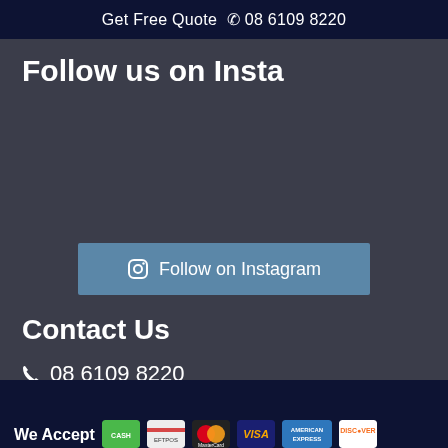Get Free Quote  📞 08 6109 8220
Follow us on Insta
[Figure (other): Follow on Instagram button with Instagram camera icon]
Contact Us
📞 08 6109 8220
We Accept [payment card icons: Visa, MasterCard, Discover, American Express, and others]